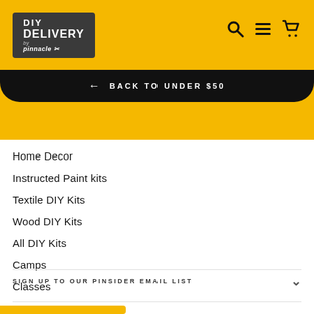[Figure (logo): DIY Delivery by Pinnacle logo on dark gray background]
[Figure (infographic): Search, menu, and cart icons in top right]
← BACK TO UNDER $50
Home Decor
Instructed Paint kits
Textile DIY Kits
Wood DIY Kits
All DIY Kits
Camps
Classes
SIGN UP TO OUR PINSIDER EMAIL LIST